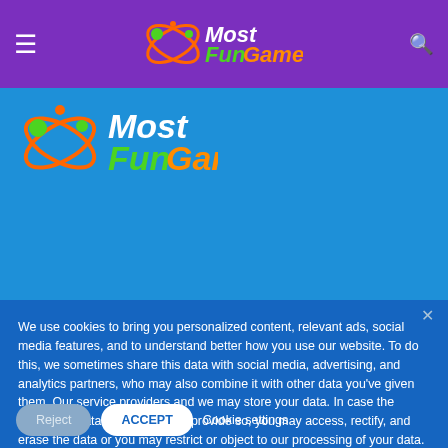MostFunGames header navigation bar
[Figure (logo): MostFunGames logo in blue banner area]
We use cookies to bring you personalized content, relevant ads, social media features, and to understand better how you use our website. To do this, we sometimes share this data with social media, advertising, and analytics partners, who may also combine it with other data you've given them. Our service providers and we may store your data. In case the applicable data protection laws provide so, you may access, rectify, and erase the data or you may restrict or object to our processing of your data. Please contact us at such an event. We'll assume you're ok with this, but you can opt-out if you wish. Read More
Reject
ACCEPT
Cookie settings